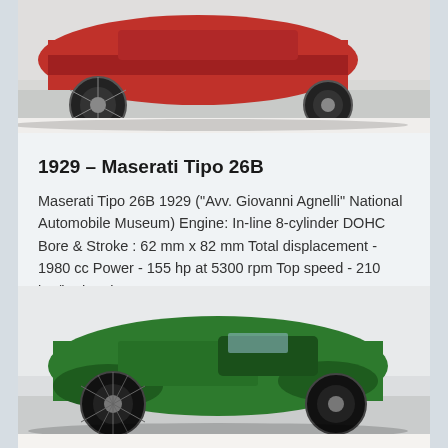[Figure (photo): Top portion of a red vintage Maserati Tipo 26B racing car displayed in a museum setting, viewed from the front-left angle showing the engine area and wire-spoke wheels.]
1929 – Maserati Tipo 26B
Maserati Tipo 26B 1929 ("Avv. Giovanni Agnelli" National Automobile Museum) Engine: In-line 8-cylinder DOHC Bore & Stroke : 62 mm x 82 mm Total displacement - 1980 cc Power - 155 hp at 5300 rpm Top speed - 210 km/h The Tipo 26 was...
Museo Enzo Ferrari Modena
[Figure (photo): A green vintage sports car (likely 1930s era) displayed in a museum, viewed from the front-left angle, showing open cockpit body style with cycle fenders and wire-spoke wheels.]